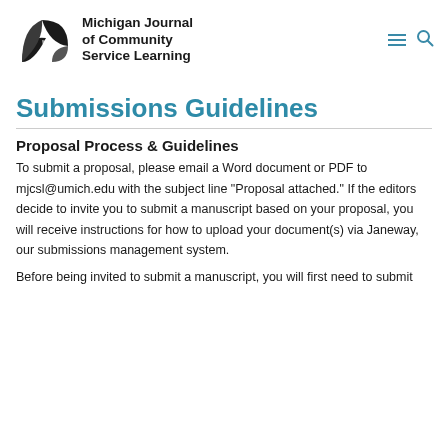[Figure (logo): Michigan Journal of Community Service Learning logo — abstract leaf/petal shapes in dark gray/black, with bold journal title text to the right]
Submissions Guidelines
Proposal Process & Guidelines
To submit a proposal, please email a Word document or PDF to mjcsl@umich.edu with the subject line "Proposal attached." If the editors decide to invite you to submit a manuscript based on your proposal, you will receive instructions for how to upload your document(s) via Janeway, our submissions management system.
Before being invited to submit a manuscript, you will first need to submit